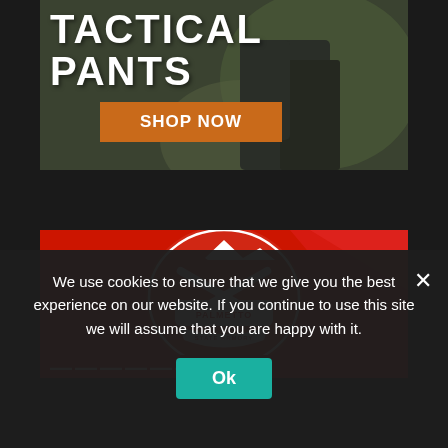[Figure (advertisement): Tactical Pants advertisement with camouflage background showing dark pants, large white uppercase text 'TACTICAL PANTS' and an orange 'SHOP NOW' button]
[Figure (advertisement): Palmetto State Armory advertisement with red background and white crossed rifles logo/badge in center]
We use cookies to ensure that we give you the best experience on our website. If you continue to use this site we will assume that you are happy with it.